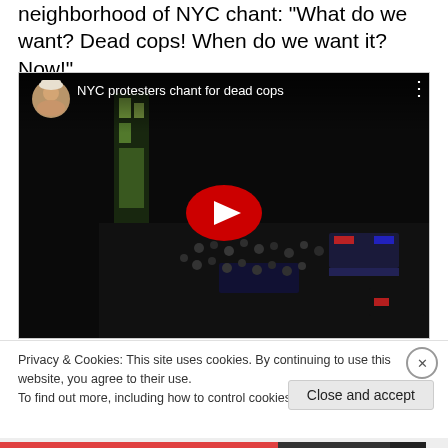neighborhood of NYC chant: "What do we want? Dead cops! When do we want it? Now!"
[Figure (screenshot): Embedded YouTube video player showing NYC protesters at night with crowd visible from above. Video title: 'NYC protesters chant for dead cops'. Red YouTube play button in center. Video thumbnail shows nighttime aerial view of protesters and police vehicles on a city street.]
Privacy & Cookies: This site uses cookies. By continuing to use this website, you agree to their use.
To find out more, including how to control cookies, see here: Cookie Policy
Close and accept